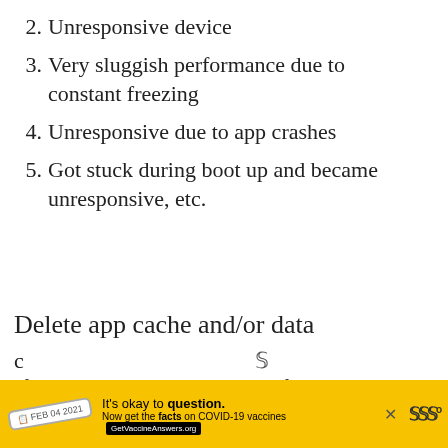2. Unresponsive device
3. Very sluggish performance due to constant freezing
4. Unresponsive due to app crashes
5. Got stuck during boot up and became unresponsive, etc.
Delete app cache and/or data
If restarting your phone won't fix the problem, the next good thing to do is to
[Figure (other): Yellow advertisement banner: 'It's okay to question. Now get the facts on COVID-19 vaccines GetVaccineAnswers.org' with a stamp graphic and close button (x)]